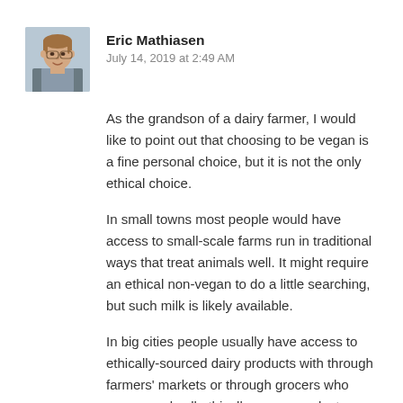[Figure (photo): Profile photo of Eric Mathiasen - a man in casual attire against a light background]
Eric Mathiasen
July 14, 2019 at 2:49 AM
As the grandson of a dairy farmer, I would like to point out that choosing to be vegan is a fine personal choice, but it is not the only ethical choice.
In small towns most people would have access to small-scale farms run in traditional ways that treat animals well. It might require an ethical non-vegan to do a little searching, but such milk is likely available.
In big cities people usually have access to ethically-sourced dairy products with through farmers' markets or through grocers who source and sell ethically-grown products.
Farming has been going on for thousands of years, and for